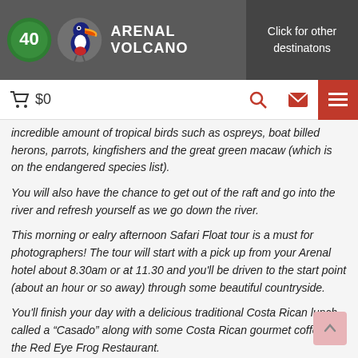ARENAL VOLCANO | Click for other destinatons
incredible amount of tropical birds such as ospreys, boat billed herons, parrots, kingfishers and the great green macaw (which is on the endangered species list).
You will also have the chance to get out of the raft and go into the river and refresh yourself as we go down the river.
This morning or ealry afternoon Safari Float tour is a must for photographers! The tour will start with a pick up from your Arenal hotel about 8.30am or at 11.30 and you'll be driven to the start point (about an hour or so away) through some beautiful countryside.
You'll finish your day with a delicious traditional Costa Rican lunch called a “Casado” along with some Costa Rican gourmet coffee at the Red Eye Frog Restaurant.